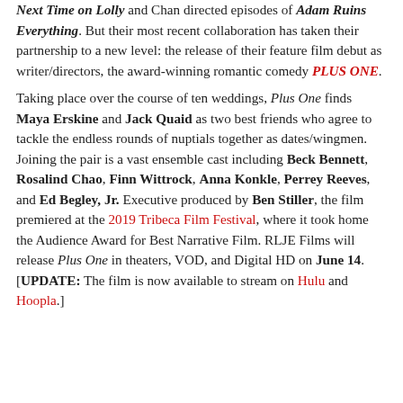Next Time on Lolly and Chan directed episodes of Adam Ruins Everything. But their most recent collaboration has taken their partnership to a new level: the release of their feature film debut as writer/directors, the award-winning romantic comedy PLUS ONE.

Taking place over the course of ten weddings, Plus One finds Maya Erskine and Jack Quaid as two best friends who agree to tackle the endless rounds of nuptials together as dates/wingmen. Joining the pair is a vast ensemble cast including Beck Bennett, Rosalind Chao, Finn Wittrock, Anna Konkle, Perrey Reeves, and Ed Begley, Jr. Executive produced by Ben Stiller, the film premiered at the 2019 Tribeca Film Festival, where it took home the Audience Award for Best Narrative Film. RLJE Films will release Plus One in theaters, VOD, and Digital HD on June 14. [UPDATE: The film is now available to stream on Hulu and Hoopla.]